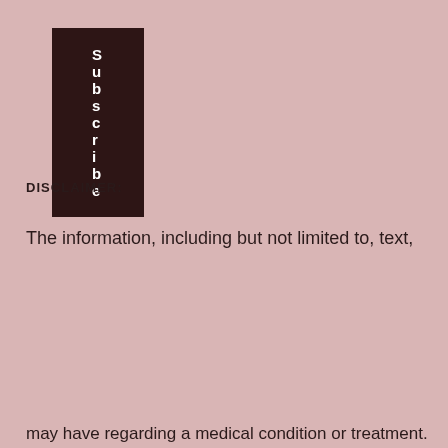Subscribe
DISCLAIMER:
The information, including but not limited to, text,
[Figure (screenshot): Modal popup with sparkle icon, title 'Unlock exclusive rewards and perks', subtitle 'Sign up or Log in', a dark Sign up button, and 'Already have an account? Sign in' link with close X button.]
may have regarding a medical condition or treatment.